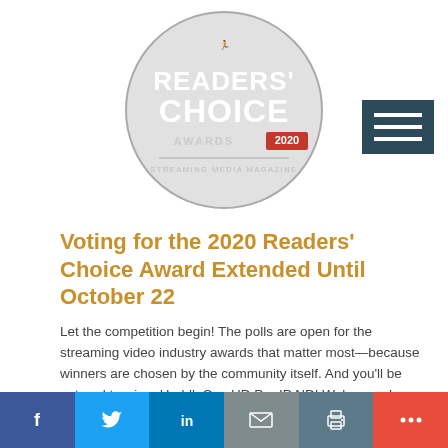[Figure (logo): Readers' Choice Awards 2020 circular badge logo - gray circle with text READERS' CHOICE AWARDS 2020 STREAMING MEDIA MAGAZINE]
Voting for the 2020 Readers' Choice Award Extended Until October 22
Let the competition begin! The polls are open for the streaming video industry awards that matter most—because winners are chosen by the community itself. And you'll be entered to win a HuddleCamHD Pro IP NDI Webcam when you cast your vote!
02 SEP 2020
[Figure (infographic): Social sharing bar with Facebook, Twitter, LinkedIn, Email, Print, and More buttons]